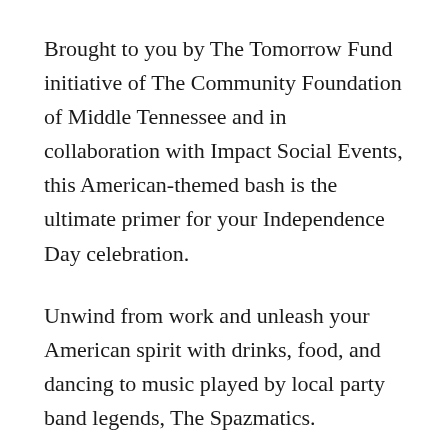Brought to you by The Tomorrow Fund initiative of The Community Foundation of Middle Tennessee and in collaboration with Impact Social Events, this American-themed bash is the ultimate primer for your Independence Day celebration.
Unwind from work and unleash your American spirit with drinks, food, and dancing to music played by local party band legends, The Spazmatics.
This year's Red, White & Brew is set for 6-10 pm Thursday, June 23 at the W Nashville hotel's stunning, 10,000-square-foot rooftop WET Deck bar and pool, located at 300 12th Ave S. in downtown's The Gulch neighborhood.